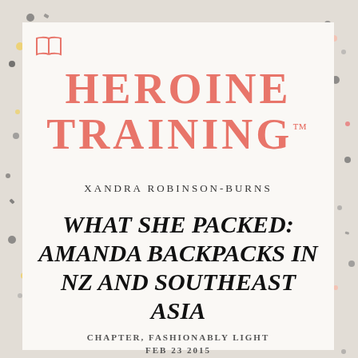HEROINE TRAINING™
XANDRA ROBINSON-BURNS
WHAT SHE PACKED: AMANDA BACKPACKS IN NZ AND SOUTHEAST ASIA
CHAPTER, FASHIONABLY LIGHT
FEB 23 2015